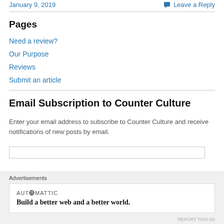January 9, 2019   Leave a Reply
Pages
Need a review?
Our Purpose
Reviews
Submit an article
Email Subscription to Counter Culture
Enter your email address to subscribe to Counter Culture and receive notifications of new posts by email.
[Figure (other): Advertisements banner: Automattic logo with tagline 'Build a better web and a better world.']